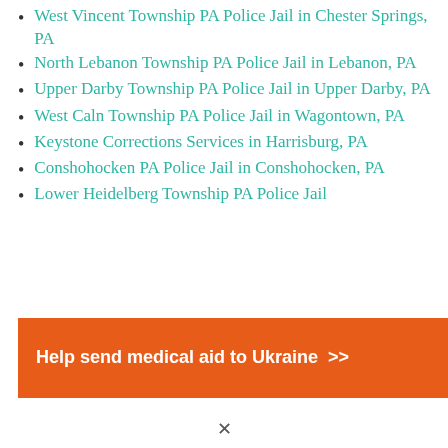West Vincent Township PA Police Jail in Chester Springs, PA
North Lebanon Township PA Police Jail in Lebanon, PA
Upper Darby Township PA Police Jail in Upper Darby, PA
West Caln Township PA Police Jail in Wagontown, PA
Keystone Corrections Services in Harrisburg, PA
Conshohocken PA Police Jail in Conshohocken, PA
Lower Heidelberg Township PA Police Jail
[Figure (infographic): Orange banner advertisement: 'Help send medical aid to Ukraine >>' with Direct Relief logo on the right]